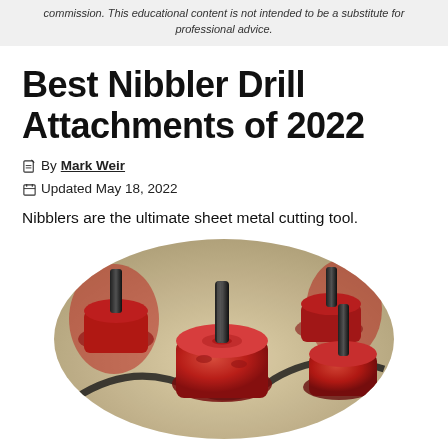commission. This educational content is not intended to be a substitute for professional advice.
Best Nibbler Drill Attachments of 2022
✏ By Mark Weir
📅 Updated May 18, 2022
Nibblers are the ultimate sheet metal cutting tool.
[Figure (photo): Close-up photo of multiple red nibbler drill attachments with black metal bits on top, arranged in an oval-cropped image]